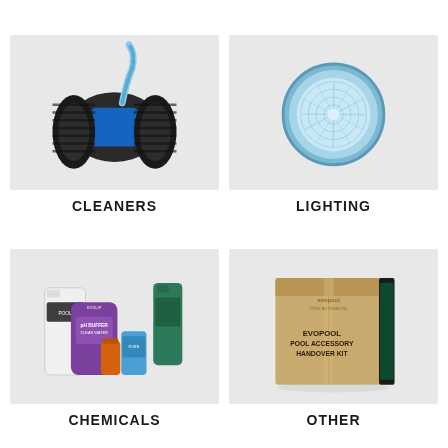[Figure (photo): Pool cleaner robot with large black wheels and blue body]
CLEANERS
[Figure (photo): Blue circular underwater pool light fixture]
LIGHTING
[Figure (photo): Collection of pool chemical bottles and containers including pH buffer and other treatments]
CHEMICALS
[Figure (photo): Cardboard box labeled EVOPOOL POOL ACCESSORY HANDOVER KIT]
OTHER